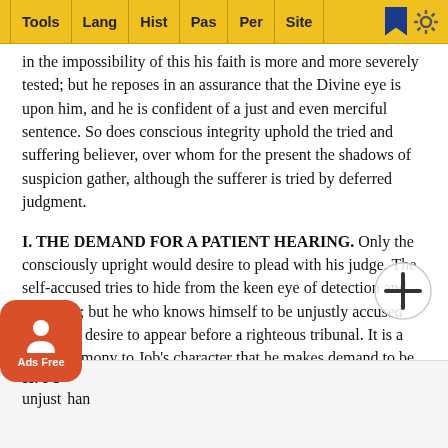Tools | Lang | Hist | Pas | Per | Site
in the impossibility of this his faith is more and more severely tested; but he reposes in an assurance that the Divine eye is upon him, and he is confident of a just and even merciful sentence. So does conscious integrity uphold the tried and suffering believer, over whom for the present the shadows of suspicion gather, although the sufferer is tried by deferred judgment.
I. THE DEMAND FOR A PATIENT HEARING. Only the consciously upright would desire to plead with his judge. The self-accused tries to hide from the keen eye of detection and exposure; but he who knows himself to be unjustly accused may well desire to appear before a righteous tribunal. It is a high testimony to Job's character that he makes demand to be tried by One who cannot err (verses 3-7). But his longing is not allayed. A further test is applied to his character. For the present, at least, judgment is denied him.
II. JU
unjus... han